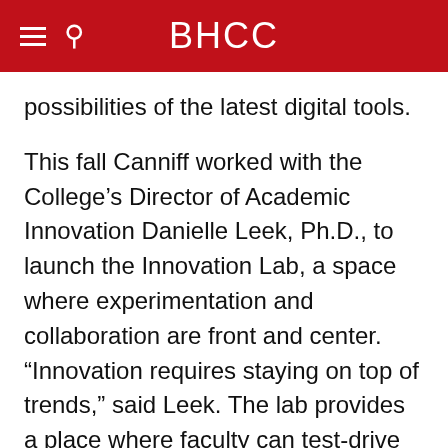BHCC
possibilities of the latest digital tools.
This fall Canniff worked with the College’s Director of Academic Innovation Danielle Leek, Ph.D., to launch the Innovation Lab, a space where experimentation and collaboration are front and center. “Innovation requires staying on top of trends,” said Leek. The lab provides a place where faculty can test-drive digital tools ranging from adaptive learning technologies to gaming software that supports student learning to mobile-